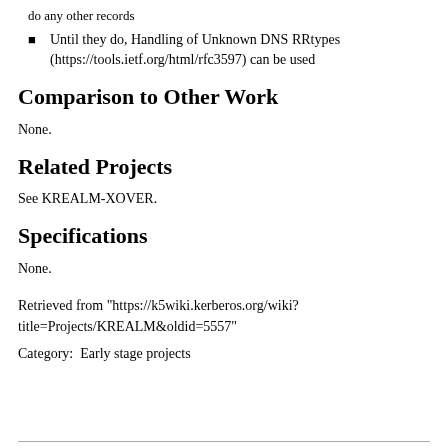do any other records
Until they do, Handling of Unknown DNS RRtypes (https://tools.ietf.org/html/rfc3597) can be used
Comparison to Other Work
None.
Related Projects
See KREALM-XOVER.
Specifications
None.
Retrieved from "https://k5wiki.kerberos.org/wiki?title=Projects/KREALM&oldid=5557"
Category:  Early stage projects